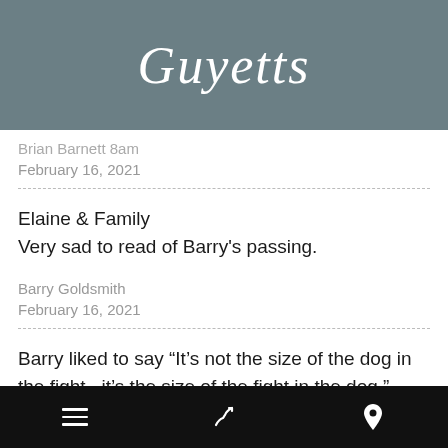[Figure (logo): Guyetts logo in white italic script on grey background]
Brian Barnett 8am
February 16, 2021
Elaine & Family
Very sad to read of Barry's passing.
Barry Goldsmith
February 16, 2021
Barry liked to say “It’s not the size of the dog in the fight , it’s the size of the fight in the dog ”. Barry was a fighter. RIP cousin.
Navigation footer with menu, phone, and location icons